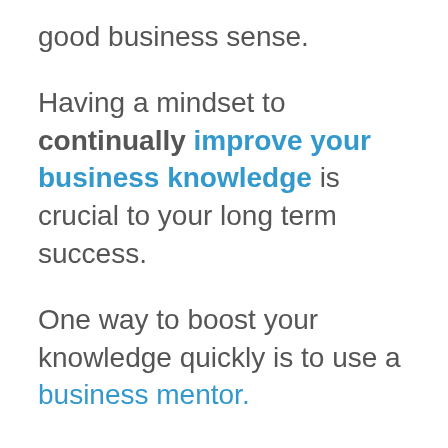good business sense.
Having a mindset to continually improve your business knowledge is crucial to your long term success.
One way to boost your knowledge quickly is to use a business mentor.
Crafting a business culture that complements your own personality, values and